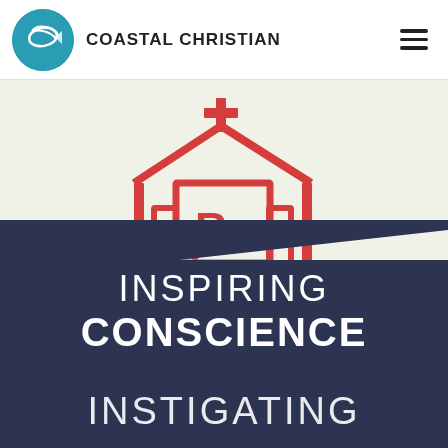[Figure (logo): Coastal Christian logo: teal circle with fish/wave emblem]
COASTAL CHRISTIAN
[Figure (logo): Red church building icon with cross on top and 'Re' text inside, on light cream background]
INSPIRING CONSCIENCE INSTIGATING